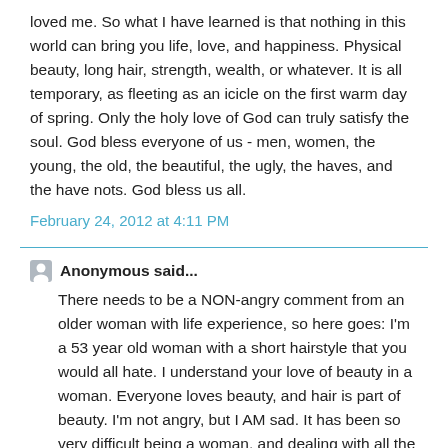loved me. So what I have learned is that nothing in this world can bring you life, love, and happiness. Physical beauty, long hair, strength, wealth, or whatever. It is all temporary, as fleeting as an icicle on the first warm day of spring. Only the holy love of God can truly satisfy the soul. God bless everyone of us - men, women, the young, the old, the beautiful, the ugly, the haves, and the have nots. God bless us all.
February 24, 2012 at 4:11 PM
Anonymous said...
There needs to be a NON-angry comment from an older woman with life experience, so here goes: I'm a 53 year old woman with a short hairstyle that you would all hate. I understand your love of beauty in a woman. Everyone loves beauty, and hair is part of beauty. I'm not angry, but I AM sad. It has been so very difficult being a woman, and dealing with all the pain that men have caused me in my life, (starting in my childhood when my older brother began molesting me, and continuing on to having been raped by a stranger, and then an ex-boyfriend, among other things). A...